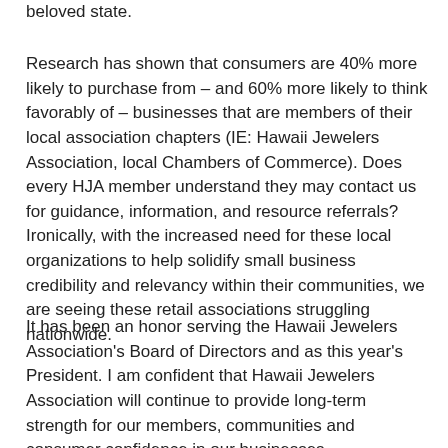beloved state.
Research has shown that consumers are 40% more likely to purchase from – and 60% more likely to think favorably of – businesses that are members of their local association chapters (IE: Hawaii Jewelers Association, local Chambers of Commerce). Does every HJA member understand they may contact us for guidance, information, and resource referrals? Ironically, with the increased need for these local organizations to help solidify small business credibility and relevancy within their communities, we are seeing these retail associations struggling nationwide.
It has been an honor serving the Hawaii Jewelers Association's Board of Directors and as this year's President. I am confident that Hawaii Jewelers Association will continue to provide long-term strength for our members, communities and consumer confidence in our businesses.